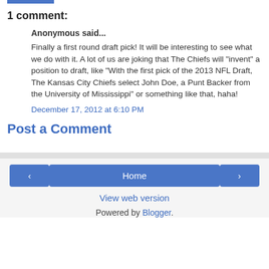1 comment:
Anonymous said...
Finally a first round draft pick! It will be interesting to see what we do with it. A lot of us are joking that The Chiefs will "invent" a position to draft, like "With the first pick of the 2013 NFL Draft, The Kansas City Chiefs select John Doe, a Punt Backer from the University of Mississippi" or something like that, haha!
December 17, 2012 at 6:10 PM
Post a Comment
Home | View web version | Powered by Blogger.